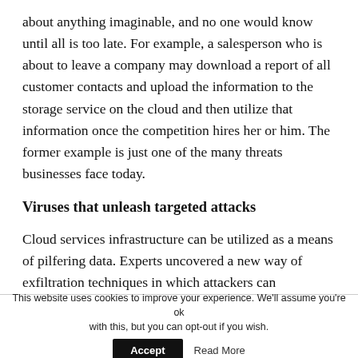about anything imaginable, and no one would know until all is too late. For example, a salesperson who is about to leave a company may download a report of all customer contacts and upload the information to the storage service on the cloud and then utilize that information once the competition hires her or him. The former example is just one of the many threats businesses face today.
Viruses that unleash targeted attacks
Cloud services infrastructure can be utilized as a means of pilfering data. Experts uncovered a new way of exfiltration techniques in which attackers can
This website uses cookies to improve your experience. We'll assume you're ok with this, but you can opt-out if you wish. Accept Read More